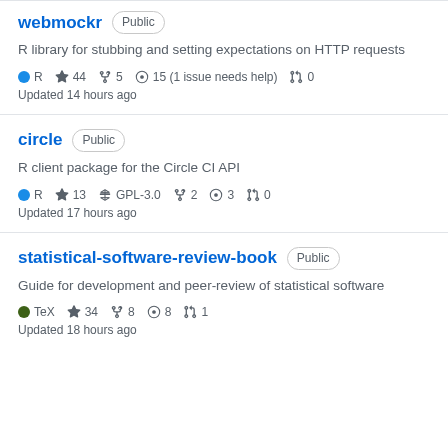webmockr Public — R library for stubbing and setting expectations on HTTP requests. R, 44 stars, 5 forks, 15 (1 issue needs help), 0 PRs. Updated 14 hours ago.
circle Public — R client package for the Circle CI API. R, 13 stars, GPL-3.0, 2 forks, 3 issues, 0 PRs. Updated 17 hours ago.
statistical-software-review-book Public — Guide for development and peer-review of statistical software. TeX, 34 stars, 8 forks, 8 issues, 1 PR. Updated 18 hours ago.